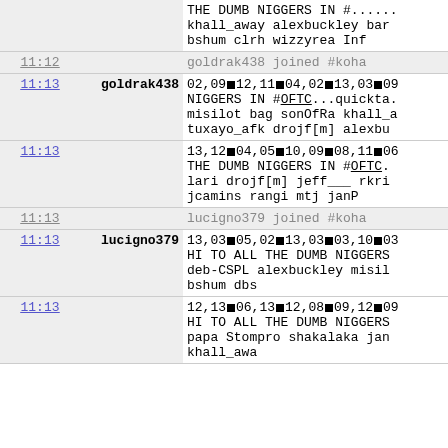| time | nick | message |
| --- | --- | --- |
|  |  | THE DUMB NIGGERS IN #...... khall_away alexbuckley bar bshum clrh wizzyrea Inf |
| 11:12 |  | goldrak438 joined #koha |
| 11:13 | goldrak438 | 02,09■12,11■04,02■13,03■09 NIGGERS IN #OFTC...quickta. misilot bag sonOfRa khall_a tuxayo_afk drojf[m] alexbu |
| 11:13 |  | 13,12■04,05■10,09■08,11■06 THE DUMB NIGGERS IN #OFTC. lari drojf[m] jeff___ rkri jcamins rangi mtj janP |
| 11:13 |  | lucigno379 joined #koha |
| 11:13 | lucigno379 | 13,03■05,02■13,03■03,10■03 HI TO ALL THE DUMB NIGGERS deb-CSPL alexbuckley misil bshum dbs |
| 11:13 |  | 12,13■06,13■12,08■09,12■09 HI TO ALL THE DUMB NIGGERS papa Stompro shakalaka jan khall_awa |